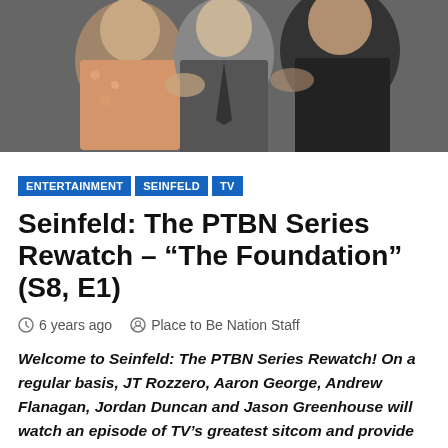[Figure (photo): Group photo of Seinfeld cast members, three people posing together in black and white/color photo]
ENTERTAINMENT
SEINFELD
TV
Seinfeld: The PTBN Series Rewatch – “The Foundation” (S8, E1)
6 years ago   Place to Be Nation Staff
Welcome to Seinfeld: The PTBN Series Rewatch! On a regular basis, JT Rozzero, Aaron George, Andrew Flanagan, Jordan Duncan and Jason Greenhouse will watch an episode of TV’s greatest sitcom and provide notes and grades across a number of categories. The goal is to rewatch the entire series chronologically to see what truly worked, what still holds up today, what feels just a bit